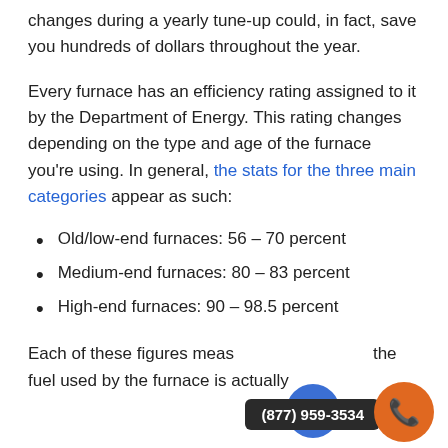changes during a yearly tune-up could, in fact, save you hundreds of dollars throughout the year.
Every furnace has an efficiency rating assigned to it by the Department of Energy. This rating changes depending on the type and age of the furnace you're using. In general, the stats for the three main categories appear as such:
Old/low-end furnaces: 56 – 70 percent
Medium-end furnaces: 80 – 83 percent
High-end furnaces: 90 – 98.5 percent
Each of these figures meas the fuel used by the furnace is actually